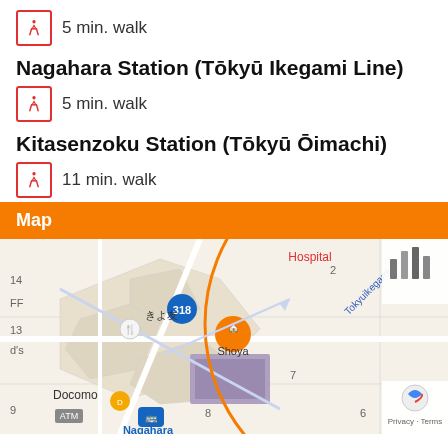5 min. walk
Nagahara Station (Tōkyū Ikegami Line)
5 min. walk
Kitasenzoku Station (Tōkyū Ōimachi)
11 min. walk
Map
[Figure (map): Google map showing Nagahara Station area with circle overlay and street labels including Hospital, Route 318, Shoya, Docomo, and Tokyuikegami line]